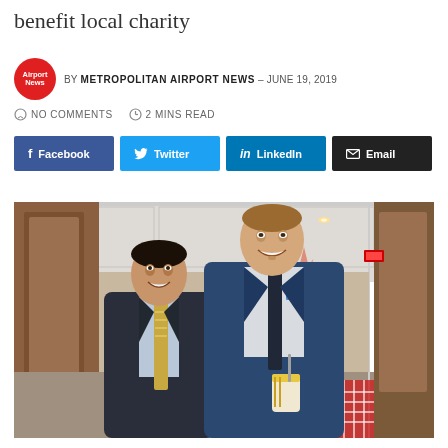benefit local charity
BY METROPOLITAN AIRPORT NEWS – JUNE 19, 2019
NO COMMENTS  2 MINS READ
Facebook  Twitter  LinkedIn  Email
[Figure (photo): Two men in business suits smiling indoors at what appears to be a restaurant or concession area. The man on the right holds a beverage cup. Background shows wood paneling, a red and white checkered tablecloth, and a starburst graphic.]